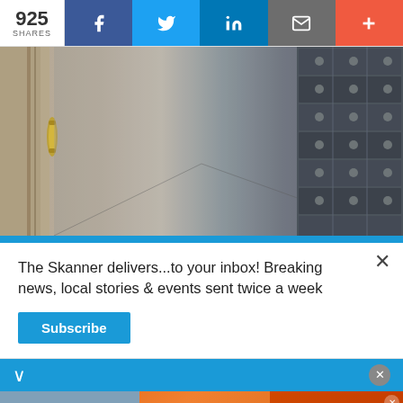925 SHARES | Facebook | Twitter | LinkedIn | Email | +
[Figure (photo): Close-up photo of mailboxes or lockers showing metal doors with a brass handle on the left and rows of mailbox slots on the right, in a blurred hallway perspective]
The Skanner delivers...to your inbox! Breaking news, local stories & events sent twice a week
Subscribe
[Figure (infographic): Advertisement for Sedona Apartments: 14402 Pavilion Point, Houston, TX 77083. RENTA TU APARTAMENTO Y MUDATE HOY! VEN Y VISITANOS. www.apartments.com. 1 Y 2 RECAMARAS. 281-568-4596]